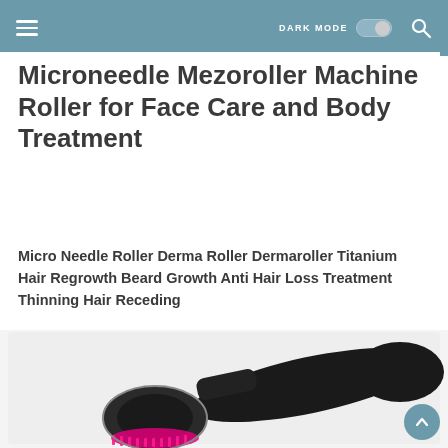DARK MODE
Microneedle Mezoroller Machine Roller for Face Care and Body Treatment
Micro Needle Roller Derma Roller Dermaroller Titanium Hair Regrowth Beard Growth Anti Hair Loss Treatment Thinning Hair Receding
[Figure (photo): Photo of a black and pink microneedle derma roller product with pink needles visible at the bottom, shown against a white background.]